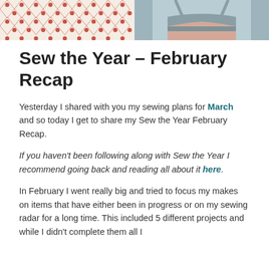[Figure (photo): Two-panel hero image: left panel shows fabric with red diamond/dot pattern on white background; right panel shows a person wearing a gray sports bra/bralette.]
Sew the Year – February Recap
Yesterday I shared with you my sewing plans for March and so today I get to share my Sew the Year February Recap.
If you haven't been following along with Sew the Year I recommend going back and reading all about it here.
In February I went really big and tried to focus my makes on items that have either been in progress or on my sewing radar for a long time.  This included 5 different projects and while I didn't complete them all I